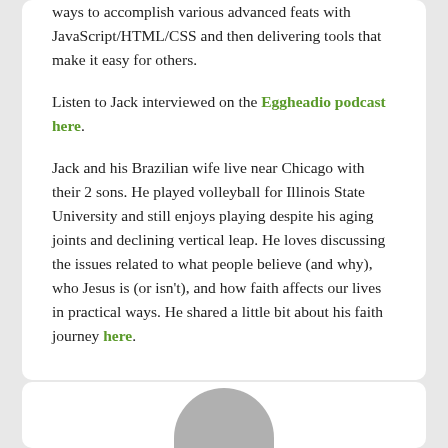ways to accomplish various advanced feats with JavaScript/HTML/CSS and then delivering tools that make it easy for others.
Listen to Jack interviewed on the Eggheadio podcast here.
Jack and his Brazilian wife live near Chicago with their 2 sons. He played volleyball for Illinois State University and still enjoys playing despite his aging joints and declining vertical leap. He loves discussing the issues related to what people believe (and why), who Jesus is (or isn't), and how faith affects our lives in practical ways. He shared a little bit about his faith journey here.
[Figure (photo): Partial view of a circular avatar/profile photo at the bottom of a card, showing only the top portion of a person's head in grayscale.]